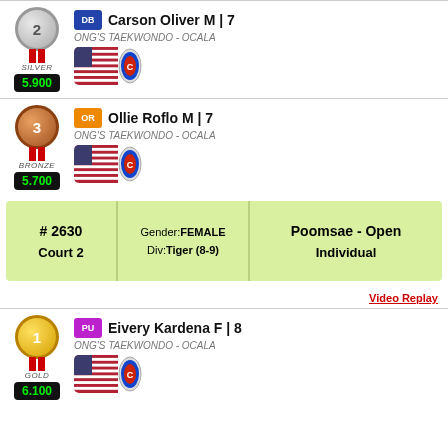SILVER - Carson Oliver M | 7 - ONG'S TAEKWONDO - OCALA - Score: 5.900
BRONZE - Ollie Roflo M | 7 - ONG'S TAEKWONDO - OCALA - Score: 5.700
| # | Gender | Event |
| --- | --- | --- |
| # 2630
Court 2 | Gender:FEMALE
Div:Tiger (8-9) | Poomsae - Open
Individual |
Video Replay
GOLD - Eivery Kardena F | 8 - ONG'S TAEKWONDO - OCALA - Score: 6.100